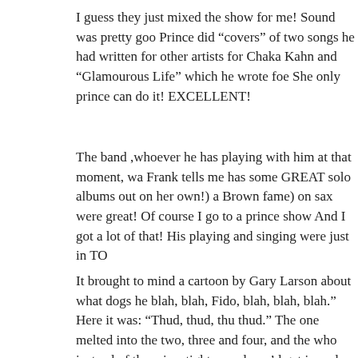I guess they just mixed the show for me! Sound was pretty good. Prince did “covers” of two songs he had written for other artists for Chaka Kahn and “Glamourous Life” which he wrote foe She only prince can do it! EXCELLENT!
The band ,whoever he has playing with him at that moment, wa Frank tells me has some GREAT solo albums out on her own!) a Brown fame) on sax were great! Of course I go to a prince show And I got a lot of that! His playing and singing were just in TOP
It brought to mind a cartoon by Gary Larson about what dogs he blah, blah, Fido, blah, blah, blah.” Here it was: “Thud, thud, thu thud.” The one melted into the two, three and four, and the who instead of the crisp, tight sound you’d get in a place with better